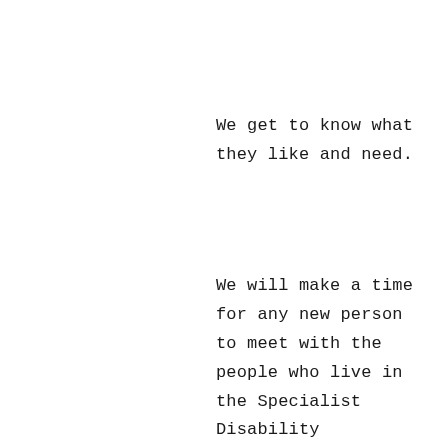We get to know what they like and need.
We will make a time for any new person to meet with the people who live in the Specialist Disability Accommodation home.